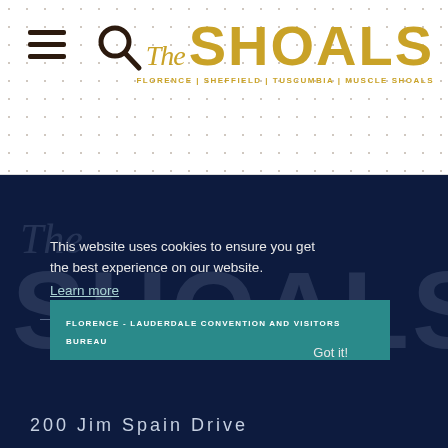[Figure (logo): The Shoals logo with tagline: Florence | Sheffield | Tuscumbia | Muscle Shoals]
[Figure (screenshot): Dark navy hero section with The Shoals watermark logo and cookie consent overlay reading: This website uses cookies to ensure you get the best experience on our website. Learn more. Got it! Below is a teal banner reading FLORENCE - LAUDERDALE CONVENTION AND VISITORS BUREAU]
200 Jim Spain Drive